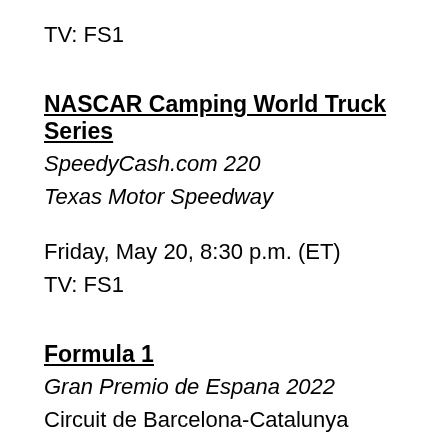TV: FS1
NASCAR Camping World Truck Series
SpeedyCash.com 220
Texas Motor Speedway
Friday, May 20, 8:30 p.m. (ET)
TV: FS1
Formula 1
Gran Premio de Espana 2022
Circuit de Barcelona-Catalunya
Sunday, May 22, 6:00 a.m. (ET)
TV: ESPN2